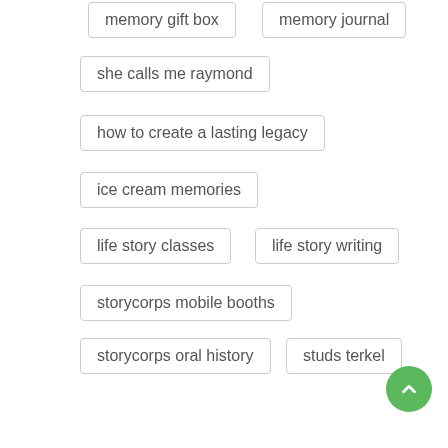memory gift box
memory journal
she calls me raymond
how to create a lasting legacy
ice cream memories
life story classes
life story writing
storycorps mobile booths
storycorps oral history
studs terkel
how to write life stories of my grandparents
interviewing dad
interviewing grandma